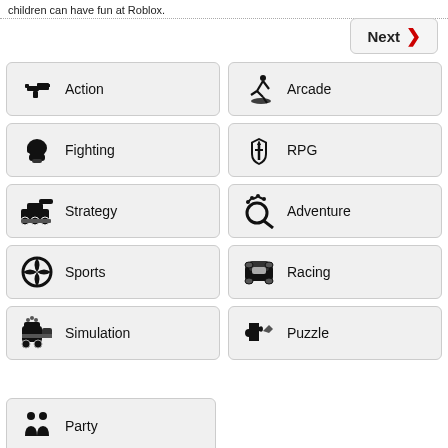children can have fun at Roblox.
Action
Arcade
Fighting
RPG
Strategy
Adventure
Sports
Racing
Simulation
Puzzle
Party